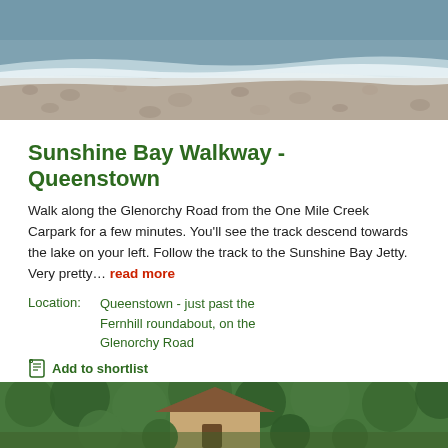[Figure (photo): Aerial or close view of a beach shoreline with gentle waves and pebbled shore]
Sunshine Bay Walkway - Queenstown
Walk along the Glenorchy Road from the One Mile Creek Carpark for a few minutes. You'll see the track descend towards the lake on your left. Follow the track to the Sunshine Bay Jetty. Very pretty… read more
Location:   Queenstown - just past the Fernhill roundabout, on the Glenorchy Road
Add to shortlist
[Figure (photo): Photo of a rustic wooden hut or shelter surrounded by dense green trees and vegetation]